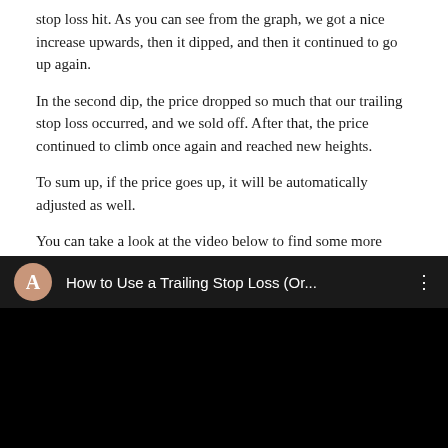stop loss hit. As you can see from the graph, we got a nice increase upwards, then it dipped, and then it continued to go up again.
In the second dip, the price dropped so much that our trailing stop loss occurred, and we sold off. After that, the price continued to climb once again and reached new heights.
To sum up, if the price goes up, it will be automatically adjusted as well.
You can take a look at the video below to find some more information about how to use it.
[Figure (screenshot): Embedded video thumbnail showing a YouTube-style video player with black background. Header shows a circular avatar with letter 'A' in salmon/beige color, video title 'How to Use a Trailing Stop Loss (Or...' in white text, and a three-dot menu icon.]